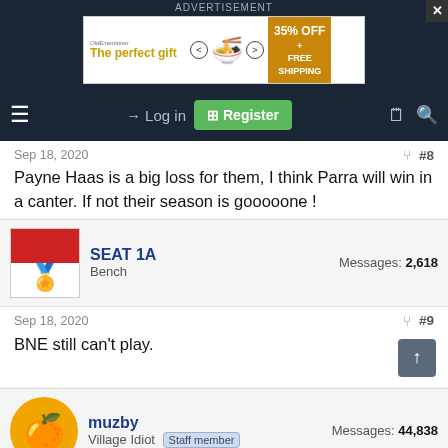ADVERTISEMENT
[Figure (illustration): Advertisement banner: 'The perfect gift' with food bowl image, navigation arrows, and '35% OFF + FREE SHIPPING' offer in orange. Close button X in top-right.]
≡  → Log in  ⊞ Register  🗒 🔍
Sep 18, 2020  #8
Payne Haas is a big loss for them, I think Parra will win in a canter. If not their season is gooooone !
SEAT 1A
Bench
Messages: 2,618
Sep 18, 2020  #9
BNE still can't play.
muzby
Village Idiot  Staff member
Messages: 44,838